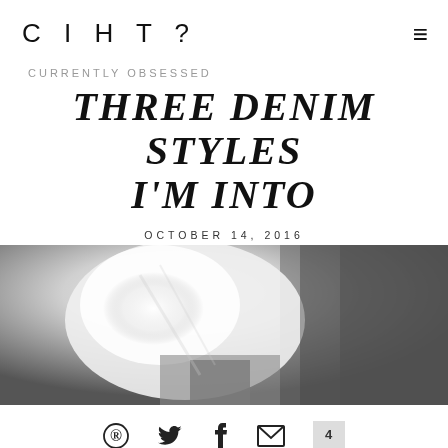CIHT?
CURRENTLY OBSESSED
THREE DENIM STYLES I'M INTO
OCTOBER 14, 2016
[Figure (photo): Black and white photo of a person wearing denim, showing lower body/waist area with light fabric draped over, outdoor background]
Social sharing icons: Pinterest, Twitter, Facebook, Email, 4 comments